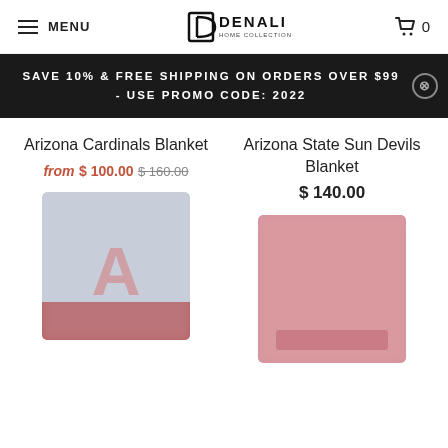MENU | DENALI HOME COLLECTION | Cart 0
SAVE 10% & FREE SHIPPING ON ORDERS OVER $99 - USE PROMO CODE: 2022
Arizona Cardinals Blanket
from $ 100.00 $ 160.00
[Figure (photo): Arizona Cardinals Blanket product photo, blurred, showing a blue/grey blanket with Cardinals logo]
Arizona State Sun Devils Blanket
$ 140.00
[Figure (photo): Arizona State Sun Devils Blanket product photo, blurred, showing a pink/red blanket]